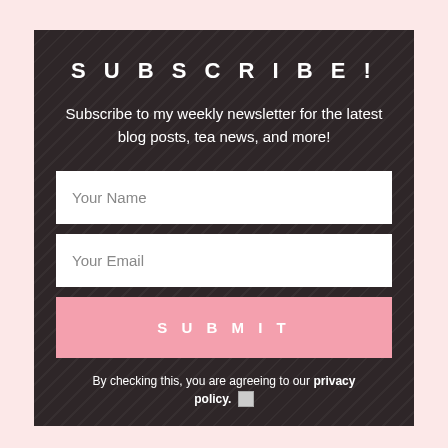SUBSCRIBE!
Subscribe to my weekly newsletter for the latest blog posts, tea news, and more!
Your Name
Your Email
SUBMIT
By checking this, you are agreeing to our privacy policy.